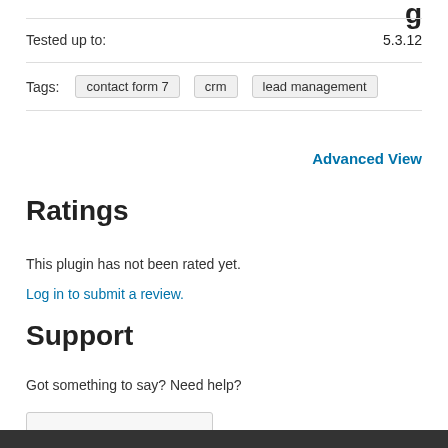| Field | Value |
| --- | --- |
| Tested up to: | 5.3.12 |
| Tags: | contact form 7   crm   lead management |
Advanced View
Ratings
This plugin has not been rated yet.
Log in to submit a review.
Support
Got something to say? Need help?
View support forum